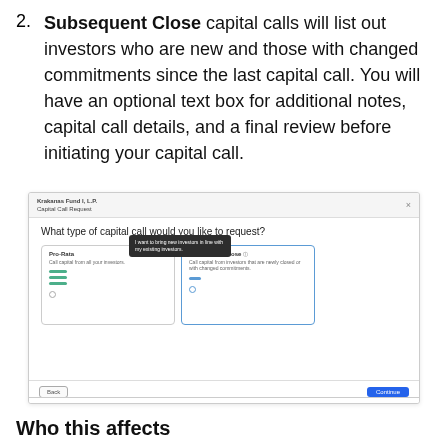2. Subsequent Close capital calls will list out investors who are new and those with changed commitments since the last capital call. You will have an optional text box for additional notes, capital call details, and a final review before initiating your capital call.
[Figure (screenshot): Screenshot of a capital call request UI showing a dialog titled 'What type of capital call would you like to request?' with two cards: 'Pro-Rata' and 'Subsequent Close', with a tooltip visible saying 'I want to bring new investors in line with my existing investors.']
Who this affects